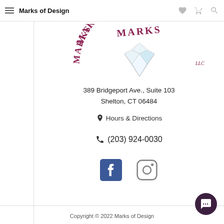Marks of Design
[Figure (logo): Marks of Design LLC logo with diamond gemstone and stylized text in dark pink/maroon]
389 Bridgeport Ave., Suite 103
Shelton, CT 06484
📍 Hours & Directions
📞 (203) 924-0030
[Figure (other): Facebook and Instagram social media icons]
Copyright © 2022 Marks of Design